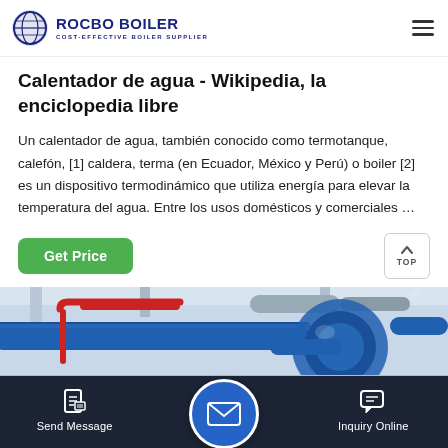ROCBO BOILER — COST-EFFECTIVE BOILER SUPPLIER
Calentador de agua - Wikipedia, la enciclopedia libre
Un calentador de agua, también conocido como termotanque, calefón, [1] caldera, terma (en Ecuador, México y Perú) o boiler [2] es un dispositivo termodinámico que utiliza energía para elevar la temperatura del agua. Entre los usos domésticos y comerciales …
[Figure (photo): Industrial boiler pipes, blue and red pipes in a facility]
Send Message | Inquiry Online